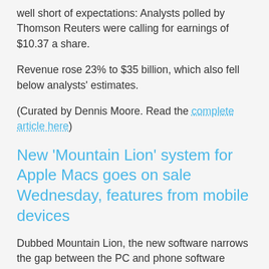well short of expectations: Analysts polled by Thomson Reuters were calling for earnings of $10.37 a share.
Revenue rose 23% to $35 billion, which also fell below analysts' estimates.
(Curated by Dennis Moore. Read the complete article here)
New ‘Mountain Lion’ system for Apple Macs goes on sale Wednesday, features from mobile devices
Dubbed Mountain Lion, the new software narrows the gap between the PC and phone software packages, making Mac personal computers work more like iPhones and iPads.
It’s similar to what Microsoft Corp. is doing with its